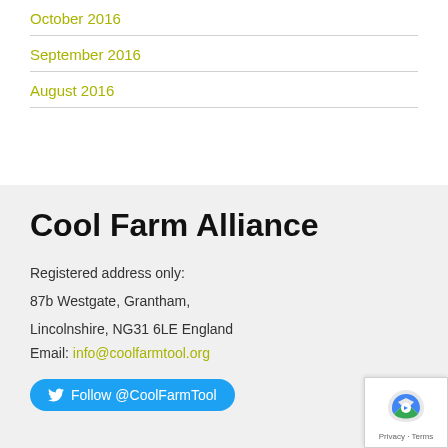October 2016
September 2016
August 2016
Cool Farm Alliance
Registered address only:
87b Westgate, Grantham,
Lincolnshire, NG31 6LE England
Email: info@coolfarmtool.org
Follow @CoolFarmTool
Cool Farm Tool